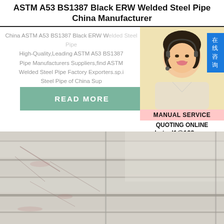ASTM A53 BS1387 Black ERW Welded Steel Pipe China Manufacturer
China ASTM A53 BS1387 Black ERW Welded Steel Pipe - High-Quality,Leading ASTM A53 BS1387 Pipe Manufacturers Suppliers,find ASTM Welded Steel Pipe Factory Exporters.sp.i Steel Pipe of China Sup
READ MORE
[Figure (photo): Woman with headset providing customer service, with Chinese chat overlay button (在线咨询), MANUAL SERVICE bar, QUOTING ONLINE text, and bsteel1@163.com email]
[Figure (photo): Close-up photo of black ERW welded steel pipe surface showing pipe edges and surface texture]